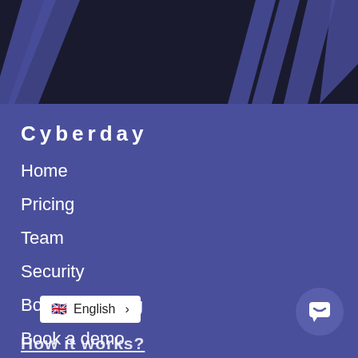[Figure (illustration): Dark header graphic with purple diagonal stripe overlays on black background]
Cyberday
Home
Pricing
Team
Security
Book a meeting
Book a demo
Login
App works in: 🇬🇧 🇩🇪 🇫🇷 🇳🇱 🇸🇪 🇫🇮 🇩🇰
English >
How it works?